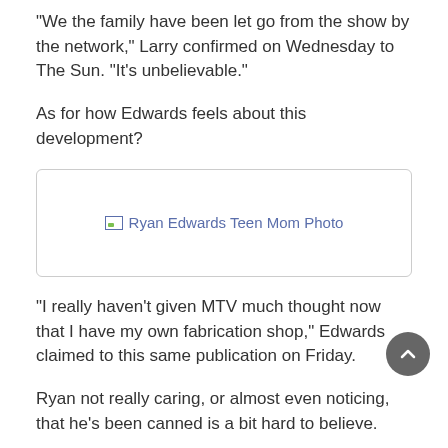“We the family have been let go from the show by the network,” Larry confirmed on Wednesday to The Sun. “It’s unbelievable.”
As for how Edwards feels about this development?
[Figure (photo): Ryan Edwards Teen Mom Photo placeholder image]
“I really haven’t given MTV much thought now that I have my own fabrication shop,” Edwards claimed to this same publication on Friday.
Ryan not really caring, or almost even noticing, that he’s been canned is a bit hard to believe.
But his dad did confirm back in October that Ryan was getting a garage built.